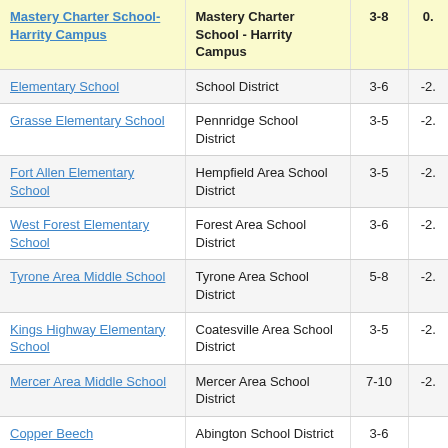| School | District | Grades | Value |
| --- | --- | --- | --- |
| Mastery Charter School-Harrity Campus | Mastery Charter School - Harrity Campus | 3-8 | 0. |
| Elementary School | School District | 3-6 | -2. |
| Grasse Elementary School | Pennridge School District | 3-5 | -2. |
| Fort Allen Elementary School | Hempfield Area School District | 3-5 | -2. |
| West Forest Elementary School | Forest Area School District | 3-6 | -2. |
| Tyrone Area Middle School | Tyrone Area School District | 5-8 | -2. |
| Kings Highway Elementary School | Coatesville Area School District | 3-5 | -2. |
| Mercer Area Middle School | Mercer Area School District | 7-10 | -2. |
| Copper Beech | Abington School District | 3-6 |  |